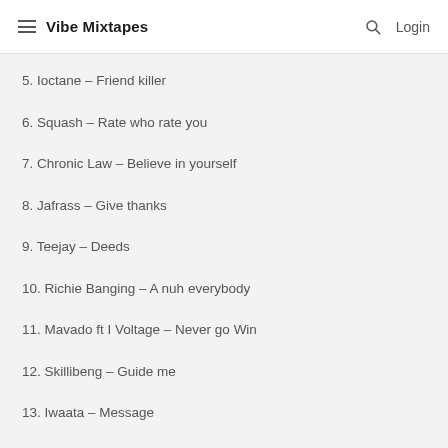Vibe Mixtapes
5. Ioctane – Friend killer
6. Squash – Rate who rate you
7. Chronic Law – Believe in yourself
8. Jafrass – Give thanks
9. Teejay – Deeds
10. Richie Banging – A nuh everybody
11. Mavado ft I Voltage – Never go Win
12. Skillibeng – Guide me
13. Iwaata – Message